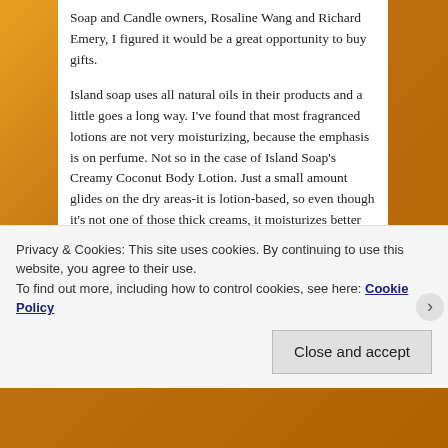Soap and Candle owners, Rosaline Wang and Richard Emery, I figured it would be a great opportunity to buy gifts.
Island soap uses all natural oils in their products and a little goes a long way. I've found that most fragranced lotions are not very moisturizing, because the emphasis is on perfume. Not so in the case of Island Soap's Creamy Coconut Body Lotion. Just a small amount glides on the dry areas-it is lotion-based, so even though it's not one of those thick creams, it moisturizes better than many of those without the sticky feel.
I spent Saturday afternoon in a coco haze of dreaminess
Privacy & Cookies: This site uses cookies. By continuing to use this website, you agree to their use.
To find out more, including how to control cookies, see here: Cookie Policy